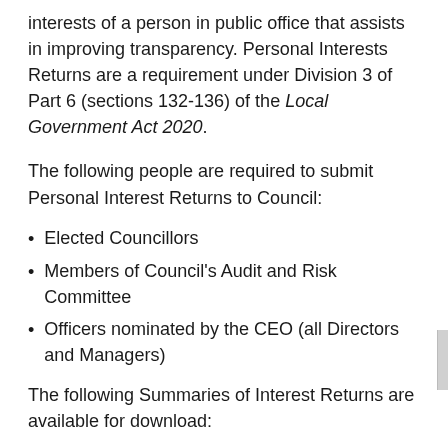interests of a person in public office that assists in improving transparency. Personal Interests Returns are a requirement under Division 3 of Part 6 (sections 132-136) of the Local Government Act 2020.
The following people are required to submit Personal Interest Returns to Council:
Elected Councillors
Members of Council's Audit and Risk Committee
Officers nominated by the CEO (all Directors and Managers)
The following Summaries of Interest Returns are available for download:
Summary of the Initial Personal Interests